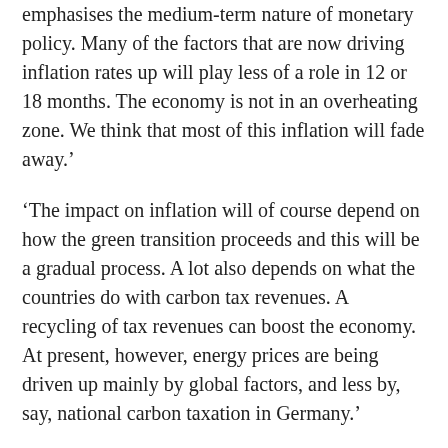emphasises the medium-term nature of monetary policy. Many of the factors that are now driving inflation rates up will play less of a role in 12 or 18 months. The economy is not in an overheating zone. We think that most of this inflation will fade away.'
'The impact on inflation will of course depend on how the green transition proceeds and this will be a gradual process. A lot also depends on what the countries do with carbon tax revenues. A recycling of tax revenues can boost the economy. At present, however, energy prices are being driven up mainly by global factors, and less by, say, national carbon taxation in Germany.'
'The huge spike in oil and gas prices is not being driven by the carbon transition. The oil price has essentially been going through a sort of “pandemic cycle”. In the first year of the pandemic, 2020, energy prices fell unusually low. And in the second half of 2021, they recovered strongly. There have been all sorts of supply issues, but these will eventually be resolved. As a central bank, we don’t have to take a stance on exactly